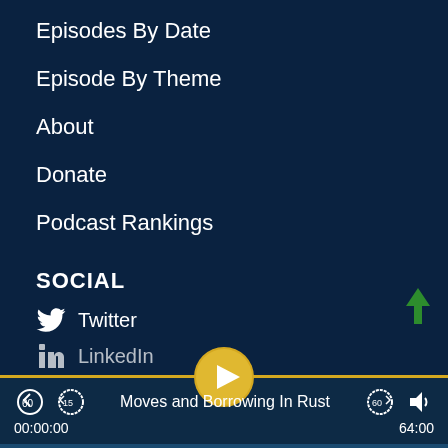Episodes By Date
Episode By Theme
About
Donate
Podcast Rankings
SOCIAL
Twitter
LinkedIn
[Figure (screenshot): Podcast player bar showing 'Moves and Borrowing In Rust' episode, time 00:00:00 / 64:00, with play button, skip controls, and volume icon]
00:00:00
Moves and Borrowing In Rust
64:00